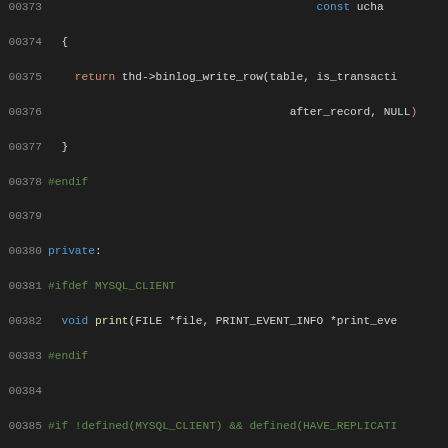[Figure (screenshot): Source code screenshot showing C++ code lines 00373-00402 with syntax highlighting on dark background. Shows MySQL/MariaDB replication event handler class code including preprocessor directives, virtual methods, and enum definitions.]